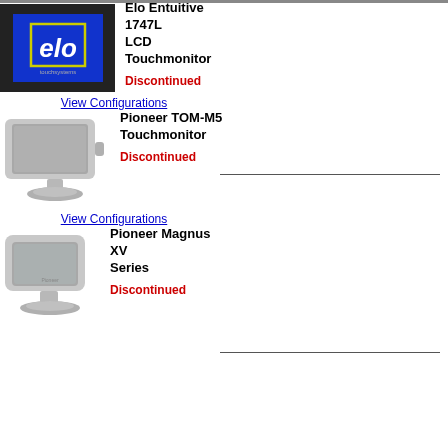[Figure (photo): Elo Entuitive 1747L LCD Touchmonitor - open-frame monitor with blue screen showing Elo logo]
Elo Entuitive 1747L LCD Touchmonitor
Discontinued
View Configurations
[Figure (photo): Pioneer TOM-M5 Touchmonitor - gray desktop touchscreen monitor on stand]
Pioneer TOM-M5 Touchmonitor
Discontinued
View Configurations
[Figure (photo): Pioneer Magnus XV Series - gray desktop touchscreen monitor on stand]
Pioneer Magnus XV Series
Discontinued